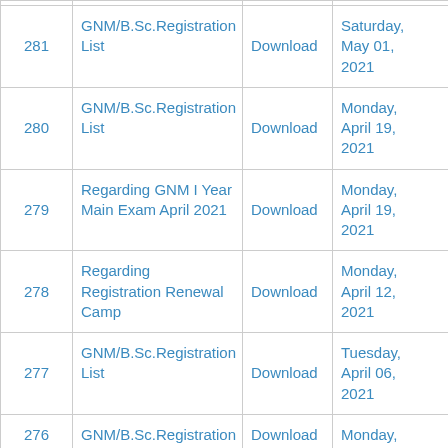| # | Description | Link | Date |
| --- | --- | --- | --- |
| 281 | GNM/B.Sc.Registration List | Download | Saturday, May 01, 2021 |
| 280 | GNM/B.Sc.Registration List | Download | Monday, April 19, 2021 |
| 279 | Regarding GNM I Year Main Exam April 2021 | Download | Monday, April 19, 2021 |
| 278 | Regarding Registration Renewal Camp | Download | Monday, April 12, 2021 |
| 277 | GNM/B.Sc.Registration List | Download | Tuesday, April 06, 2021 |
| 276 | GNM/B.Sc.Registration | Download | Monday, |